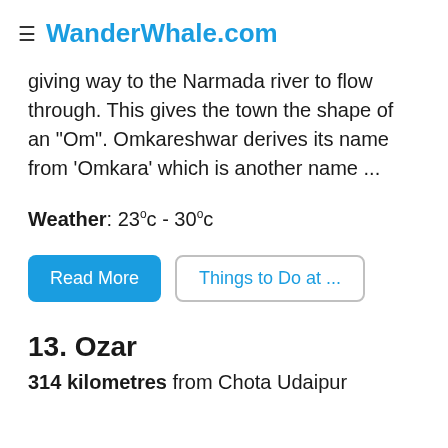≡ WanderWhale.com
giving way to the Narmada river to flow through. This gives the town the shape of an "Om". Omkareshwar derives its name from 'Omkara' which is another name ...
Weather: 23°c - 30°c
Read More | Things to Do at ...
13. Ozar
314 kilometres from Chota Udaipur